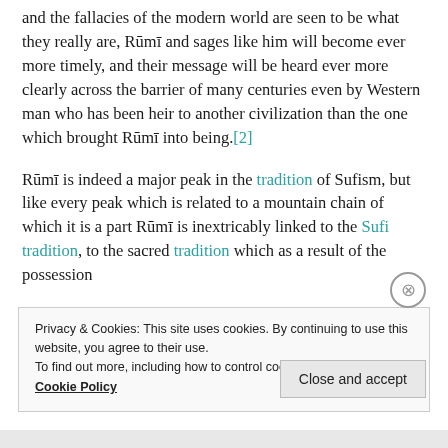and the fallacies of the modern world are seen to be what they really are, Rūmī and sages like him will become ever more timely, and their message will be heard ever more clearly across the barrier of many centuries even by Western man who has been heir to another civilization than the one which brought Rūmī into being.[2]
Rūmī is indeed a major peak in the tradition of Sufism, but like every peak which is related to a mountain chain of which it is a part Rūmī is inextricably linked to the Sufi tradition, to the sacred tradition which as a result of the possession
Privacy & Cookies: This site uses cookies. By continuing to use this website, you agree to their use.
To find out more, including how to control cookies, see here:
Cookie Policy
Close and accept